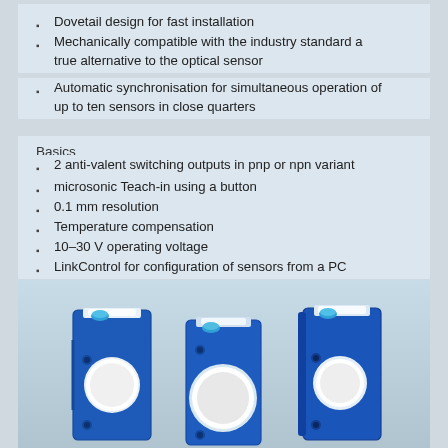Dovetail design for fast installation
Mechanically compatible with the industry standard a true alternative to the optical sensor
Automatic synchronisation for simultaneous operation of up to ten sensors in close quarters
Basics
2 anti-valent switching outputs in pnp or npn variant
microsonic Teach-in using a button
0.1 mm resolution
Temperature compensation
10–30 V operating voltage
LinkControl for configuration of sensors from a PC
[Figure (photo): Three blue ultrasonic sensor devices shown from different angles, each with a circular transducer element and LED indicator on top]